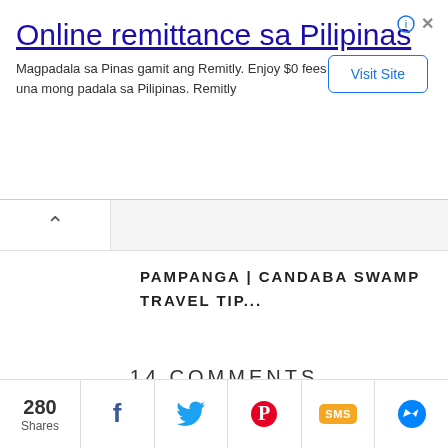[Figure (screenshot): Advertisement banner for Remitly online remittance service]
PAMPANGA | CANDABA SWAMP TRAVEL TIP...
14 COMMENTS
ED
April 15, 2011 at 11:20 AM
[Figure (infographic): Social share bar with 280 Shares, Facebook, Twitter, Pinterest, SMS, and Messenger icons]